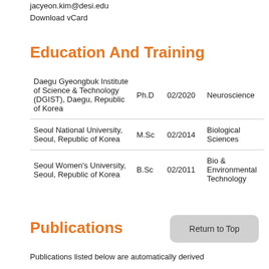jacyeon.kim@desi.edu
Download vCard
Education And Training
| Institution | Degree | Date | Field |
| --- | --- | --- | --- |
| Daegu Gyeongbuk Institute of Science & Technology (DGIST), Daegu, Republic of Korea | Ph.D | 02/2020 | Neuroscience |
| Seoul National University, Seoul, Republic of Korea | M.Sc | 02/2014 | Biological Sciences |
| Seoul Women's University, Seoul, Republic of Korea | B.Sc | 02/2011 | Bio & Environmental Technology |
Publications
Return to Top
Publications listed below are automatically derived